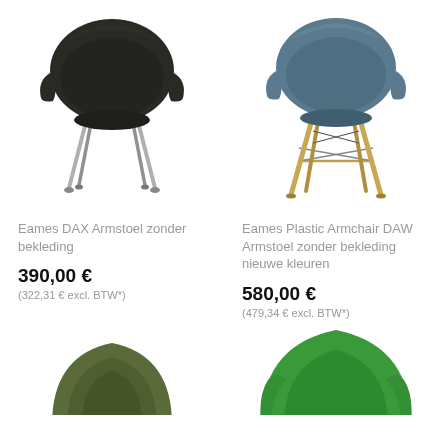[Figure (photo): Eames DAX armchair without upholstery, dark/black shell with chrome metal legs]
[Figure (photo): Eames Plastic Armchair DAW without upholstery, blue/slate shell with wooden Eiffel tower legs]
Eames DAX Armstoel zonder bekleding
Eames Plastic Armchair DAW Armstoel zonder bekleding nieuwe kleuren
390,00 €
(322,31 € excl. BTW*)
580,00 €
(479,34 € excl. BTW*)
[Figure (photo): Bottom portion of dark olive/green Eames chair shell]
[Figure (photo): Bottom portion of bright green Eames armchair shell]